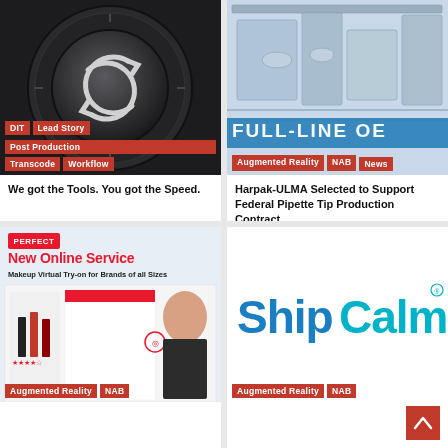[Figure (photo): Dark circular dial/knob with sync/rotate icon in center on black background]
DIT
Lead Story
Post Production
Transcode
Workflow
We got the Tools. You got the Speed.
[Figure (photo): Industrial packaging machinery in white/grey tones with text FULL-LINE OE partially visible]
Augmented Reality
NAB
News
Harpak-ULMA Selected to Support Federal Pipette Tip Production Contract
[Figure (screenshot): Perfect Corp New Online Service - Makeup Virtual Try-on for Brands of all Sizes webpage screenshot with lipstick products and woman model]
Augmented Reality
NAB
[Figure (logo): ShipCalm logo in blue and teal text on white background]
Augmented Reality
NAB